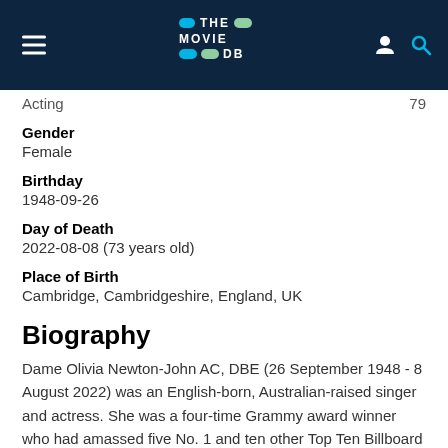THE MOVIE DB
Acting  79
Gender
Female
Birthday
1948-09-26
Day of Death
2022-08-08 (73 years old)
Place of Birth
Cambridge, Cambridgeshire, England, UK
Biography
Dame Olivia Newton-John AC, DBE (26 September 1948 - 8 August 2022) was an English-born, Australian-raised singer and actress. She was a four-time Grammy award winner who had amassed five No. 1 and ten other Top Ten Billboard Hot 100 singles and two No. 1 Billboard 200 solo albums. Eleven